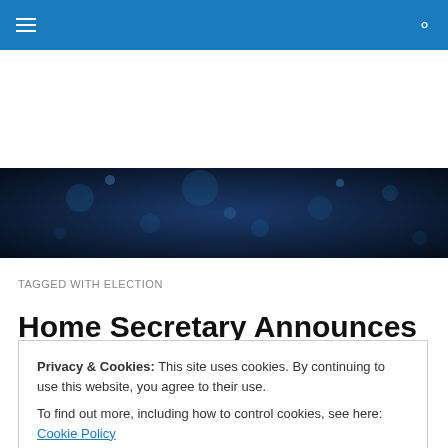Navigation bar with hamburger menu and search icon
[Figure (photo): Dark blue bokeh/starfield decorative banner image]
TAGGED WITH ELECTION
Home Secretary Announces
Privacy & Cookies: This site uses cookies. By continuing to use this website, you agree to their use.
To find out more, including how to control cookies, see here: Cookie Policy
Close and accept